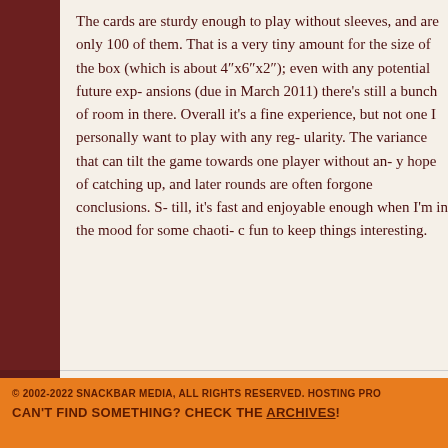The cards are sturdy enough to play without sleeves, and are only 100 of them. That is a very tiny amount for the size of the box (which is about 4"x6"x2"); even with any potential future expansions (due in March 2011) there's still a bunch of room in there. Overall it's a fine experience, but not one I personally want to play with any regularity. The variance that can tilt the game towards one player without any hope of catching up, and later rounds are often forgone conclusions. Still, it's fast and enjoyable enough when I'm in the mood for some chaotic fun to keep things interesting.
© 2002-2022 SNACKBAR MEDIA, ALL RIGHTS RESERVED. HOSTING PRO... CAN'T FIND SOMETHING? CHECK THE ARCHIVES!